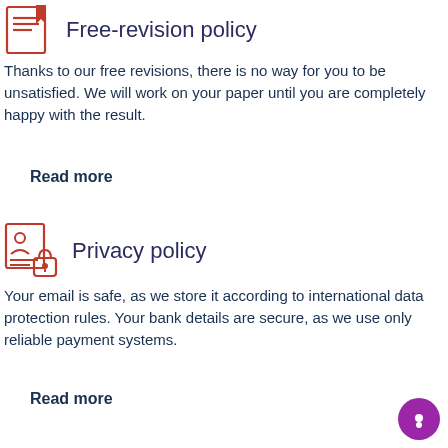[Figure (illustration): Icon of a document/book with red lines and a red bookmark, representing free-revision policy]
Free-revision policy
Thanks to our free revisions, there is no way for you to be unsatisfied. We will work on your paper until you are completely happy with the result.
Read more
[Figure (illustration): Icon of a document with a red person/ID graphic and a red padlock, representing privacy policy]
Privacy policy
Your email is safe, as we store it according to international data protection rules. Your bank details are secure, as we use only reliable payment systems.
Read more